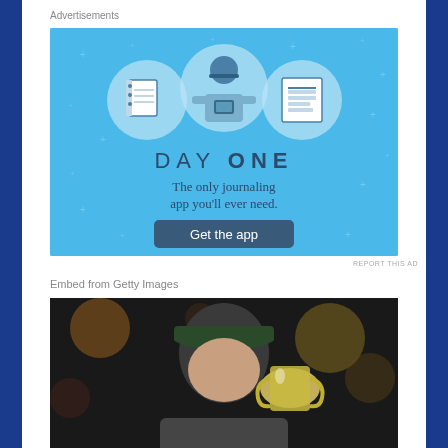Advertisements
[Figure (illustration): Day One journaling app advertisement. Light blue background with sparkle stars. Three circular icons showing a notebook, a person holding a phone, and a lined document. Text reads: DAY ONE - The only journaling app you'll ever need. Button: Get the app]
REPORT THIS AD
Embed from Getty Images
[Figure (photo): A young man wearing a dark green cap kisses a large silver trophy cup. Bokeh background with orange and yellow lights suggesting a stadium or arena setting.]